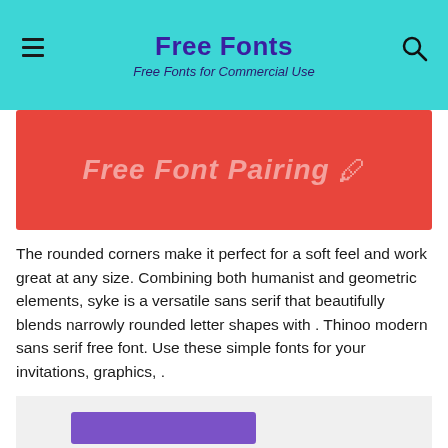Free Fonts
Free Fonts for Commercial Use
[Figure (illustration): Red banner with text 'Free Font Pairing' in italic white/light letters on a coral-red background]
The rounded corners make it perfect for a soft feel and work great at any size. Combining both humanist and geometric elements, syke is a versatile sans serif that beautifully blends narrowly rounded letter shapes with . Thinoo modern sans serif free font. Use these simple fonts for your invitations, graphics, .
[Figure (illustration): Font preview card on light gray background with purple bar accent and large bold 'Config' text. Right side shows text: 'A modern and structured condensed sans serif' with an up arrow icon.]